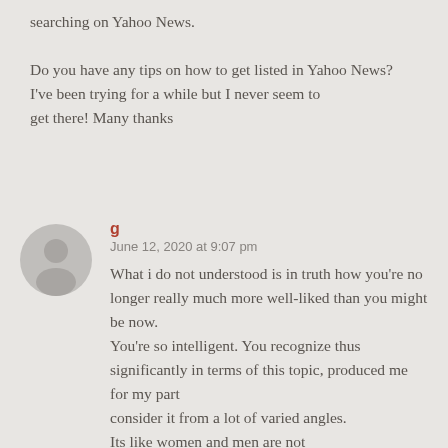searching on Yahoo News.

Do you have any tips on how to get listed in Yahoo News?
I've been trying for a while but I never seem to
get there! Many thanks
g
June 12, 2020 at 9:07 pm

What i do not understood is in truth how you're no longer really much more well-liked than you might be now.
You're so intelligent. You recognize thus significantly in terms of this topic, produced me for my part
consider it from a lot of varied angles.
Its like women and men are not
involved except it's one thing to do with